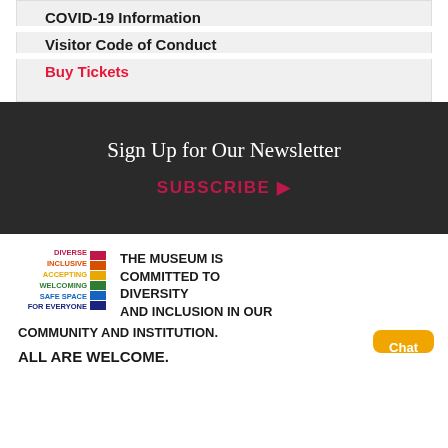COVID-19 Information
Visitor Code of Conduct
Buy Tickets
Sign Up for Our Newsletter
SUBSCRIBE ▶
[Figure (logo): Diverse Inclusive Accepting Welcoming Safe Space For Everyone rainbow diversity badge with colored text and colored square blocks]
THE MUSEUM IS COMMITTED TO DIVERSITY AND INCLUSION IN OUR COMMUNITY AND INSTITUTION. ALL ARE WELCOME.